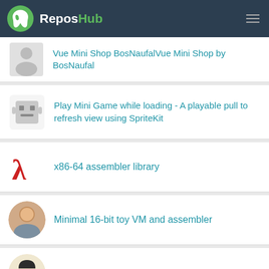ReposHub
Vue Mini Shop BosNaufalVue Mini Shop by BosNaufal
Play Mini Game while loading - A playable pull to refresh view using SpriteKit
x86-64 assembler library
Minimal 16-bit toy VM and assembler
:running: An x86-64 assembler written in Go.
simple virtual machine and assembler